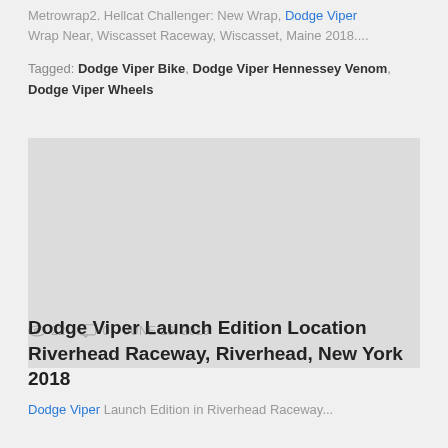Metrowrap2. Hellcat Challenger: New Wrap, Dodge Viper Wrap Near, Wiscasset Raceway, Wiscasset, Maine 2018....
Tagged: Dodge Viper Bike, Dodge Viper Hennessey Venom, Dodge Viper Wheels
[Figure (photo): Gray placeholder image area]
22  0  JUNE 26, 2019
Dodge Viper Launch Edition Location Riverhead Raceway, Riverhead, New York 2018
Dodge Viper Launch Edition in Riverhead Raceway...